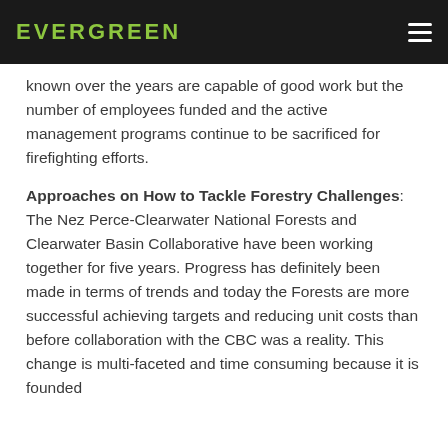EVERGREEN
known over the years are capable of good work but the number of employees funded and the active management programs continue to be sacrificed for firefighting efforts.
Approaches on How to Tackle Forestry Challenges: The Nez Perce-Clearwater National Forests and Clearwater Basin Collaborative have been working together for five years. Progress has definitely been made in terms of trends and today the Forests are more successful achieving targets and reducing unit costs than before collaboration with the CBC was a reality. This change is multi-faceted and time consuming because it is founded